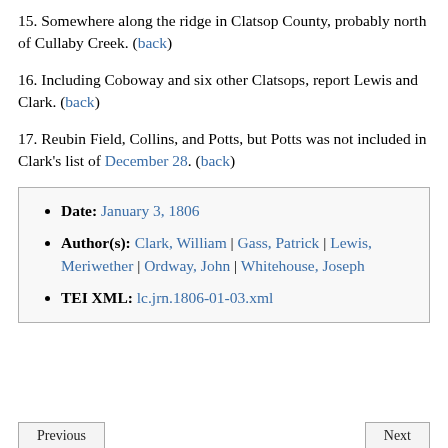15. Somewhere along the ridge in Clatsop County, probably north of Cullaby Creek. (back)
16. Including Coboway and six other Clatsops, report Lewis and Clark. (back)
17. Reubin Field, Collins, and Potts, but Potts was not included in Clark's list of December 28. (back)
| Date: | January 3, 1806 |
| Author(s): | Clark, William | Gass, Patrick | Lewis, Meriwether | Ordway, John | Whitehouse, Joseph |
| TEI XML: | lc.jrn.1806-01-03.xml |
Previous   Next